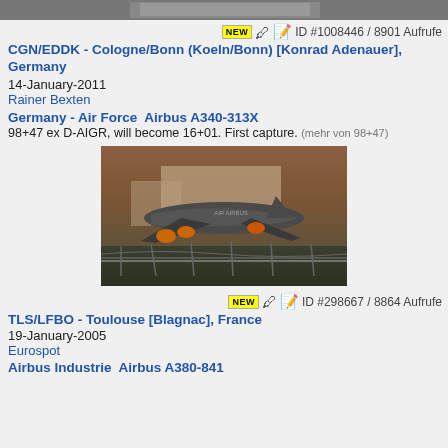[Figure (photo): Top of aircraft photo, partially visible, gray/dark tones]
ID #1008446 / 8901 Aufrufe
CGN/EDDK - Cologne/Bonn (Koeln/Bonn) [Konrad Adenauer], Germany
14-January-2011
Rainer Bexten
Germany - Air Force  Airbus A340-313X
98+47 ex D-AIGR, will become 16+01. First capture. (mehr von 98+47)
[Figure (photo): Airbus A380 aircraft on tarmac at dusk/night, orange engine highlights, Air Airbus livery, fence in foreground]
ID #298667 / 8864 Aufrufe
TLS/LFBO - Toulouse [Blagnac], France
19-January-2005
Eurospot
Airbus Industrie  Airbus A380-841